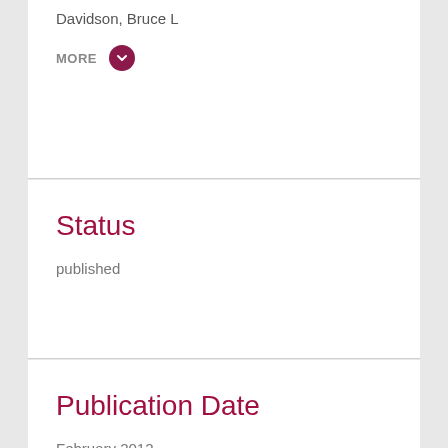Davidson, Bruce L
MORE
Status
published
Publication Date
February 2012
Has Subject Area